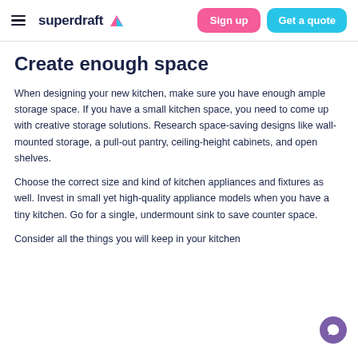superdraft — Sign up | Get a quote
Create enough space
When designing your new kitchen, make sure you have enough ample storage space. If you have a small kitchen space, you need to come up with creative storage solutions. Research space-saving designs like wall-mounted storage, a pull-out pantry, ceiling-height cabinets, and open shelves.
Choose the correct size and kind of kitchen appliances and fixtures as well. Invest in small yet high-quality appliance models when you have a tiny kitchen. Go for a single, undermount sink to save counter space.
Consider all the things you will keep in your kitchen